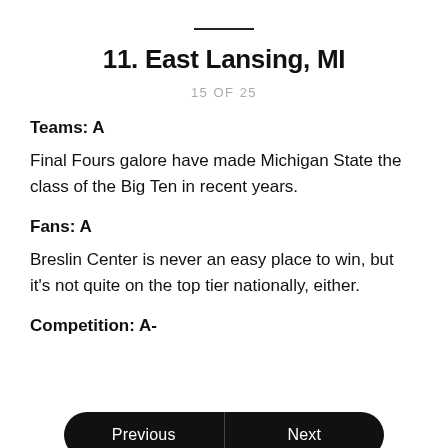11. East Lansing, MI
15 OF 25
Teams: A
Final Fours galore have made Michigan State the class of the Big Ten in recent years.
Fans: A
Breslin Center is never an easy place to win, but it's not quite on the top tier nationally, either.
Competition: A-